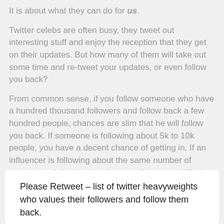It is about what they can do for us.
Twitter celebs are often busy, they tweet out interesting stuff and enjoy the reception that they get on their updates. But how many of them will take out some time and re-tweet your updates, or even follow you back?
From common sense, if you follow someone who have a hundred thousand followers and follow back a few hundred people, chances are slim that he will follow you back. If someone is following about 5k to 10k people, you have a decent chance of getting in. If an influencer is following about the same number of people that follow him back, you will have no difficulty in getting a follow back.
Please Retweet – list of twitter heavyweights who values their followers and follow them back.